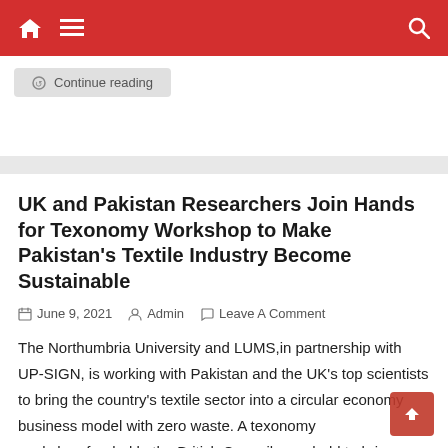Navigation bar with home, menu, and search icons
Continue reading
UK and Pakistan Researchers Join Hands for Texonomy Workshop to Make Pakistan's Textile Industry Become Sustainable
June 9, 2021   Admin   Leave A Comment
The Northumbria University and LUMS,in partnership with UP-SIGN, is working with Pakistan and the UK's top scientists to bring the country's textile sector into a circular economy business model with zero waste. A texonomy workshop,funded bythe British Council, was held to bring together textile stakeholders including academia, industry and policy makers to develop ideas around [...]